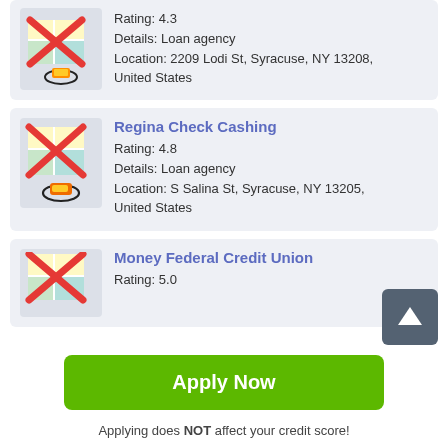[Figure (other): Map pin icon with red X overlay for first listing]
Rating: 4.3
Details: Loan agency
Location: 2209 Lodi St, Syracuse, NY 13208, United States
Regina Check Cashing
Rating: 4.8
Details: Loan agency
Location: S Salina St, Syracuse, NY 13205, United States
[Figure (other): Map pin icon with red X overlay for Money Federal Credit Union listing]
Money Federal Credit Union
Rating: 5.0
Apply Now
Applying does NOT affect your credit score!
No credit check to apply.